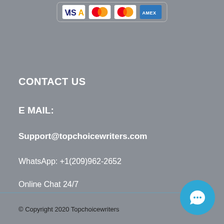[Figure (logo): Payment card logos in a rounded border box: Visa, Mastercard (two overlapping circles red/orange), another Mastercard variant, and American Express]
CONTACT US
E MAIL:
Support@topchoicewriters.com
WhatsApp: +1(209)962-2652
Online Chat 24/7
© Copyright 2020 Topchoicewriters